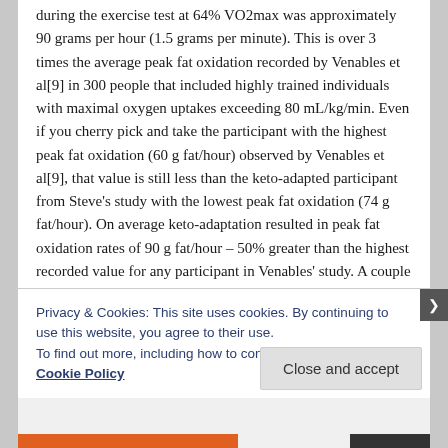during the exercise test at 64% VO2max was approximately 90 grams per hour (1.5 grams per minute). This is over 3 times the average peak fat oxidation recorded by Venables et al[9] in 300 people that included highly trained individuals with maximal oxygen uptakes exceeding 80 mL/kg/min. Even if you cherry pick and take the participant with the highest peak fat oxidation (60 g fat/hour) observed by Venables et al[9], that value is still less than the keto-adapted participant from Steve's study with the lowest peak fat oxidation (74 g fat/hour). On average keto-adaptation resulted in peak fat oxidation rates of 90 g fat/hour – 50% greater than the highest recorded value for any participant in Venables' study. A couple of Steve's keto-adapted cyclists had fat oxidation
Privacy & Cookies: This site uses cookies. By continuing to use this website, you agree to their use.
To find out more, including how to control cookies, see here: Cookie Policy